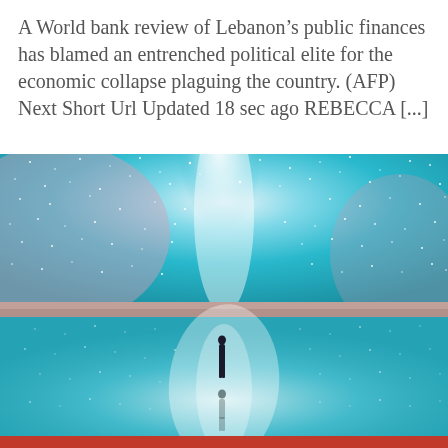A World bank review of Lebanon’s public finances has blamed an entrenched political elite for the economic collapse plaguing the country. (AFP) Next Short Url Updated 18 sec ago REBECCA [...]
[Figure (photo): A surreal photograph of a lone person standing on a mirror-like reflective surface (likely a salt flat) under a spectacular teal/cyan starry night sky with the Milky Way visible, creating a perfect mirror reflection below.]